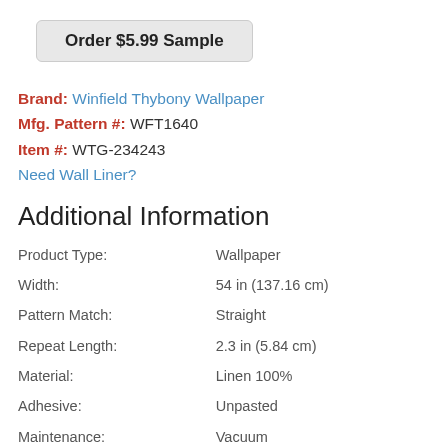Order $5.99 Sample
Brand: Winfield Thybony Wallpaper
Mfg. Pattern #: WFT1640
Item #: WTG-234243
Need Wall Liner?
Additional Information
|  |  |
| --- | --- |
| Product Type: | Wallpaper |
| Width: | 54 in (137.16 cm) |
| Pattern Match: | Straight |
| Repeat Length: | 2.3 in (5.84 cm) |
| Material: | Linen 100% |
| Adhesive: | Unpasted |
| Maintenance: | Vacuum |
| Removal: | Strippable |
Explore the Zexter Dusk Wallpaper - pattern number WFT1640 - by Winfield Thybony Wallpaper from the